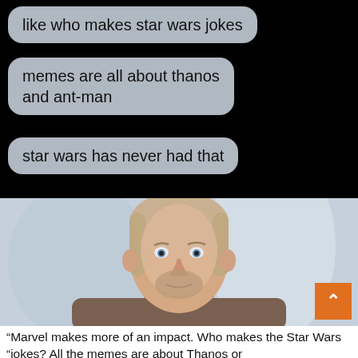like who makes star wars jokes
memes are all about thanos and ant-man
star wars has never had that
[Figure (photo): A man resembling Obi-Wan Kenobi from Star Wars, with long blonde/brown hair, a beard, and a brown robe, looking seriously at the camera. Background is light blue/grey.]
“Marvel makes more of an impact. Who makes the Star Wars “jokes? All the memes are about Thanos or